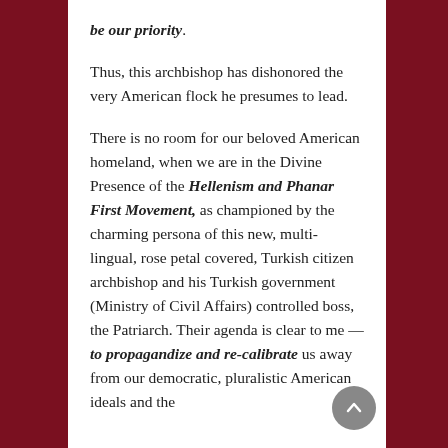be our priority.
Thus, this archbishop has dishonored the very American flock he presumes to lead.
There is no room for our beloved American homeland, when we are in the Divine Presence of the Hellenism and Phanar First Movement, as championed by the charming persona of this new, multi-lingual, rose petal covered, Turkish citizen archbishop and his Turkish government (Ministry of Civil Affairs) controlled boss, the Patriarch. Their agenda is clear to me — to propagandize and re-calibrate us away from our democratic, pluralistic American ideals and the